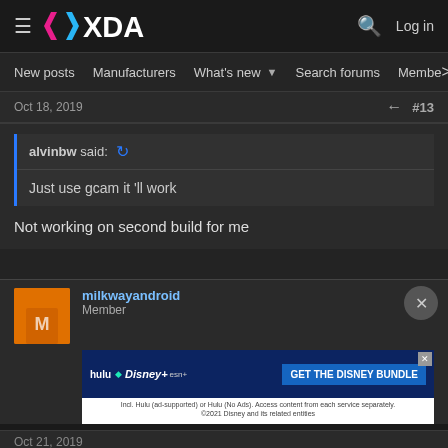≡  XDA  🔍  Log in
New posts  Manufacturers  What's new ▾  Search forums  Membe  >
Oct 18, 2019  #13
alvinbw said: ↩
Just use gcam it 'll work
Not working on second build for me
[Figure (screenshot): Ad banner: Hulu + Disney+ + ESPN+ GET THE DISNEY BUNDLE. Incl. Hulu (ad-supported) or Hulu (No Ads). Access content from each service separately. ©2021 Disney and its related entities]
milkwayandroid
Member
Oct 21, 2019